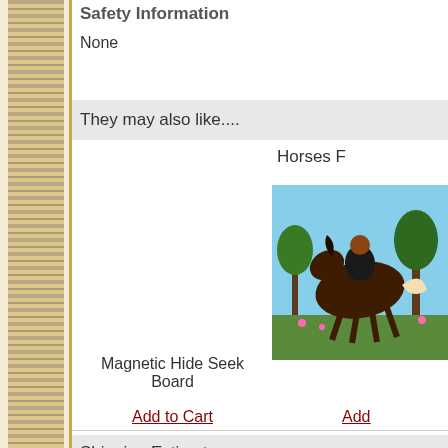Safety Information
None
They may also like....
Horses F
[Figure (photo): A colorful illustration of a horse in motion, appearing to be a book cover or toy packaging image with trees in the background.]
Magnetic Hide Seek Board
Add to Cart
Add
Shipping Estimate
Local Pickup at 4 Kids Books & Toys
Standard Shipping
Standard Shipping